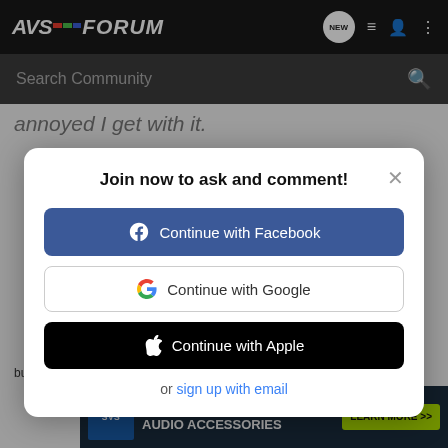AVSForum
Search Community
annoyed I get with it.
Join now to ask and comment!
Continue with Facebook
Continue with Google
Continue with Apple
or sign up with email
but-im-on-a-budget-and-need-help#post_24485998
[Figure (screenshot): SVS SoundPath Audio Accessories advertisement banner with learn more button]